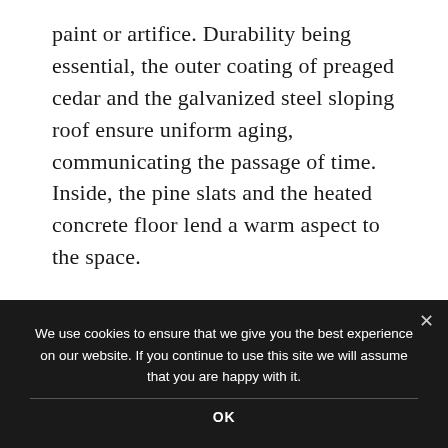paint or artifice. Durability being essential, the outer coating of preaged cedar and the galvanized steel sloping roof ensure uniform aging, communicating the passage of time. Inside, the pine slats and the heated concrete floor lend a warm aspect to the space.
[Figure (photo): Two side-by-side interior photos of a wooden cabin. Left photo shows a living area with pine slat walls and ceiling, a grey sofa, and large floor-to-ceiling glass sliding doors with a forest view. Right photo shows a triangular window opening framed by angled pine slat walls with a view of trees and blue sky.]
We use cookies to ensure that we give you the best experience on our website. If you continue to use this site we will assume that you are happy with it.
OK